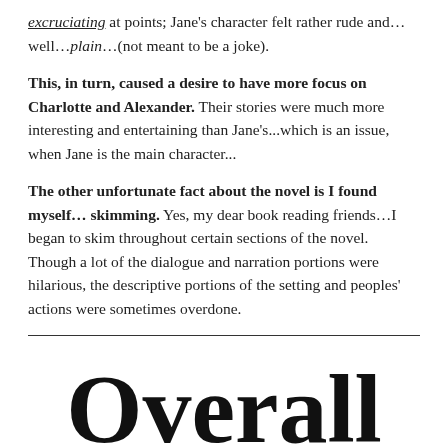excruciating at points; Jane's character felt rather rude and…well…plain…(not meant to be a joke).
This, in turn, caused a desire to have more focus on Charlotte and Alexander. Their stories were much more interesting and entertaining than Jane's...which is an issue, when Jane is the main character...
The other unfortunate fact about the novel is I found myself…skimming. Yes, my dear book reading friends…I began to skim throughout certain sections of the novel. Though a lot of the dialogue and narration portions were hilarious, the descriptive portions of the setting and peoples' actions were sometimes overdone.
[Figure (illustration): Decorative script text reading 'Overall' in large black cursive/calligraphy font]